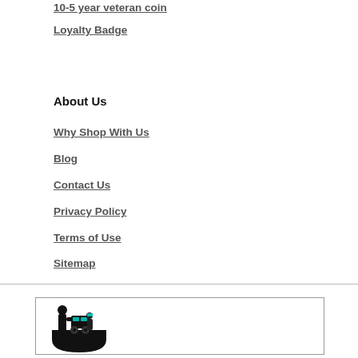10-5 year veteran coin
Loyalty Badge
About Us
Why Shop With Us
Blog
Contact Us
Privacy Policy
Terms of Use
Sitemap
[Figure (logo): Company logo silhouette showing a figure working on machinery, with partial shield/badge shape at the bottom, in black and teal colors, inside a rectangular border]